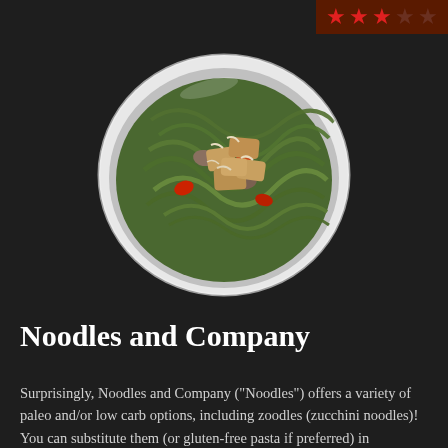[Figure (photo): A white bowl containing zucchini noodles (zoodles) with chicken pieces, red peppers, mushrooms, and sauce, photographed from above on a dark background]
[Figure (infographic): Star rating badge showing 3 out of 5 red stars on a dark brown/maroon background, positioned in top-right corner]
Noodles and Company
Surprisingly, Noodles and Company (“Noodles”) offers a variety of paleo and/or low carb options, including zoodles (zucchini noodles)! You can substitute them (or gluten-free pasta if preferred) in